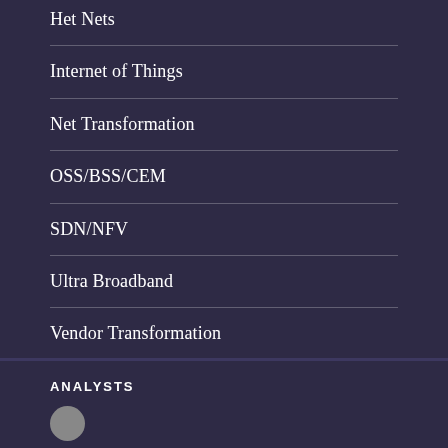Het Nets
Internet of Things
Net Transformation
OSS/BSS/CEM
SDN/NFV
Ultra Broadband
Vendor Transformation
ANALYSTS
[Figure (photo): Circular avatar/headshot of an analyst]